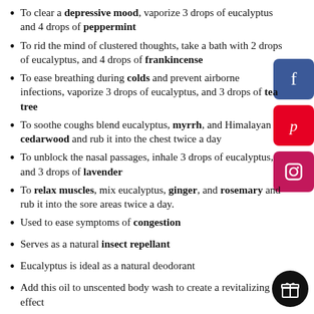To clear a depressive mood, vaporize 3 drops of eucalyptus and 4 drops of peppermint
To rid the mind of clustered thoughts, take a bath with 2 drops of eucalyptus, and 4 drops of frankincense
To ease breathing during colds and prevent airborne infections, vaporize 3 drops of eucalyptus, and 3 drops of tea tree
To soothe coughs blend eucalyptus, myrrh, and Himalayan cedarwood and rub it into the chest twice a day
To unblock the nasal passages, inhale 3 drops of eucalyptus, and 3 drops of lavender
To relax muscles, mix eucalyptus, ginger, and rosemary and rub it into the sore areas twice a day.
Used to ease symptoms of congestion
Serves as a natural insect repellant
Eucalyptus is ideal as a natural deodorant
Add this oil to unscented body wash to create a revitalizing effect